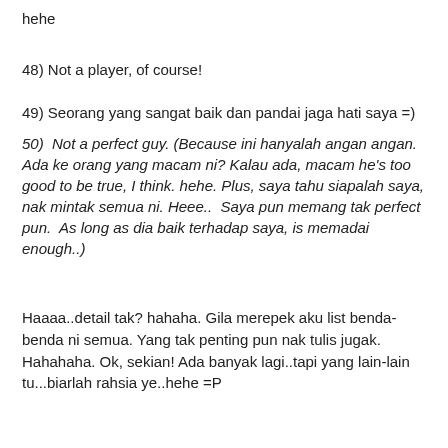hehe
48) Not a player, of course!
49) Seorang yang sangat baik dan pandai jaga hati saya =)
50)  Not a perfect guy. (Because ini hanyalah angan angan. Ada ke orang yang macam ni? Kalau ada, macam he's too good to be true, I think. hehe. Plus, saya tahu siapalah saya, nak mintak semua ni. Heee..  Saya pun memang tak perfect pun.  As long as dia baik terhadap saya, is memadai enough..)
Haaaa..detail tak? hahaha. Gila merepek aku list benda-benda ni semua. Yang tak penting pun nak tulis jugak. Hahahaha. Ok, sekian! Ada banyak lagi..tapi yang lain-lain tu...biarlah rahsia ye..hehe =P